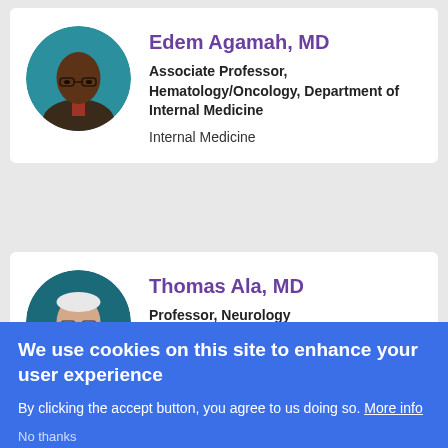[Figure (photo): Round portrait photo of Edem Agamah, MD, an African American man in a suit]
Edem Agamah, MD
Associate Professor, Hematology/Oncology, Department of Internal Medicine
Internal Medicine
[Figure (photo): Round portrait photo of Thomas Ala, MD, an older white-haired man with glasses]
Thomas Ala, MD
Professor, Neurology
We use cookies on this site to enhance your user experience
By clicking the accept button, you agree to us doing so. More info
No thanks
Accept